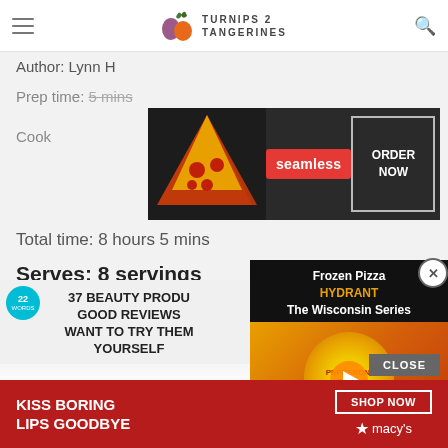Turnips 2 Tangerines
Author: Lynn H
Prep time: 5 mins
Cook time: 8 hours
Total time: 8 hours 5 mins
Serves: 8 servings
A delicious, hearty and ea…
[Figure (screenshot): Seamless food delivery advertisement banner with pizza image, Seamless logo in red, and ORDER NOW button]
[Figure (screenshot): Video overlay: Frozen Pizza HYDRANT The Wisconsin Series - Pepperoni Pizza, with play button]
[Figure (screenshot): 22 Words: 37 Beauty Products With Such Good Reviews You'll Want To Try Them Yourself, with strawberry image]
[Figure (screenshot): Macy's bottom banner ad: KISS BORING LIPS GOODBYE, SHOP NOW button and Macy's star logo]